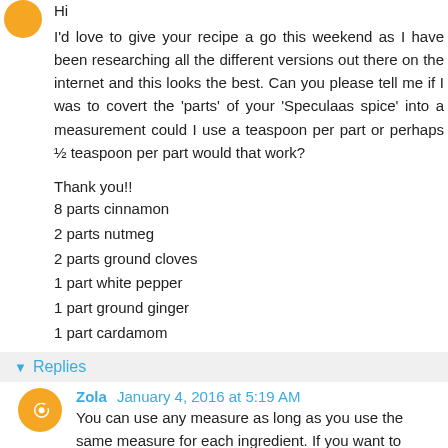Hi
I'd love to give your recipe a go this weekend as I have been researching all the different versions out there on the internet and this looks the best. Can you please tell me if I was to covert the 'parts' of your 'Speculaas spice' into a measurement could I use a teaspoon per part or perhaps ½ teaspoon per part would that work?
Thank you!!
8 parts cinnamon
2 parts nutmeg
2 parts ground cloves
1 part white pepper
1 part ground ginger
1 part cardamom
Reply
Replies
Zola January 4, 2016 at 5:19 AM
You can use any measure as long as you use the same measure for each ingredient. If you want to